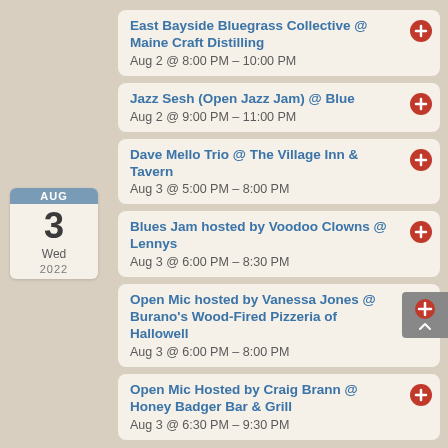East Bayside Bluegrass Collective @ Maine Craft Distilling
Aug 2 @ 8:00 PM – 10:00 PM
Jazz Sesh (Open Jazz Jam) @ Blue
Aug 2 @ 9:00 PM – 11:00 PM
Dave Mello Trio @ The Village Inn & Tavern
Aug 3 @ 5:00 PM – 8:00 PM
Blues Jam hosted by Voodoo Clowns @ Lennys
Aug 3 @ 6:00 PM – 8:30 PM
Open Mic hosted by Vanessa Jones @ Burano's Wood-Fired Pizzeria of Hallowell
Aug 3 @ 6:00 PM – 8:00 PM
Open Mic Hosted by Craig Brann @ Honey Badger Bar & Grill
Aug 3 @ 6:30 PM – 9:30 PM